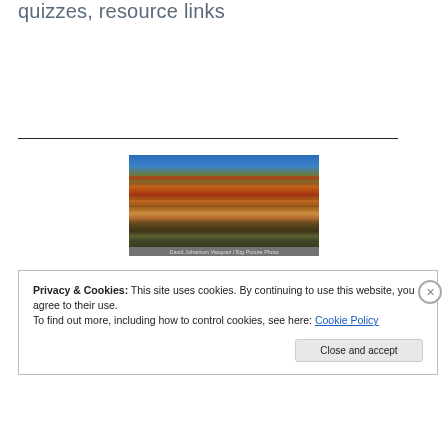quizzes, resource links
[Figure (photo): Painted Hills landscape with colorful layered rock formations under a blue sky. Photo credit: David Johanson Vasquez / Big Picture Photo]
David Johanson Vasquez / Big Picture Photo
Privacy & Cookies: This site uses cookies. By continuing to use this website, you agree to their use.
To find out more, including how to control cookies, see here: Cookie Policy
Close and accept